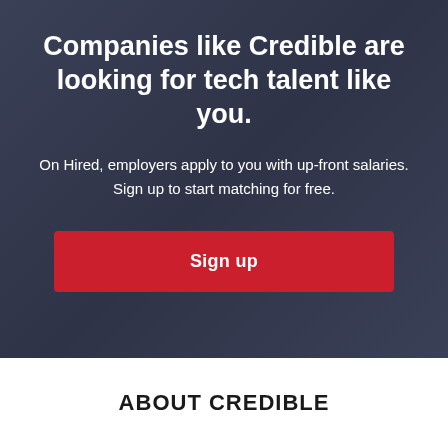Companies like Credible are looking for tech talent like you.
On Hired, employers apply to you with up-front salaries.
Sign up to start matching for free.
Sign up
ABOUT CREDIBLE